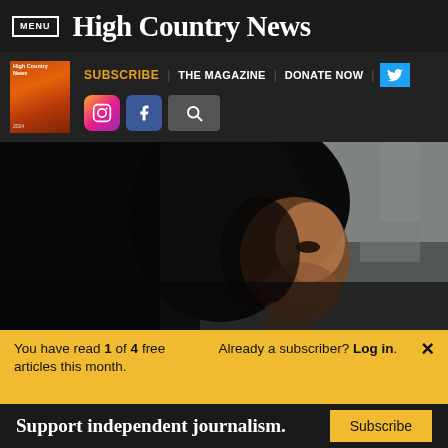MENU | High Country News
SUBSCRIBE | THE MAGAZINE | DONATE NOW
[Figure (photo): Portrait photo of a woman looking upward, face partially lit, dark hair, high contrast lighting]
You have read 1 of 4 free articles this month. Already a subscriber? Log in. ×
Support independent journalism. Subscribe